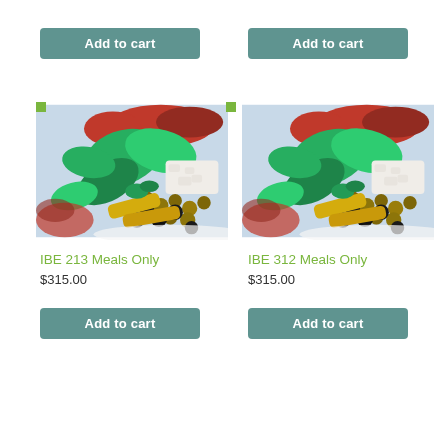[Figure (other): Add to cart button top left]
[Figure (other): Add to cart button top right]
[Figure (photo): Mediterranean food platter with olives, basil, cheese, peppers - IBE 213 Meals Only product image]
IBE 213 Meals Only
$315.00
[Figure (other): Add to cart button bottom left]
[Figure (photo): Mediterranean food platter with olives, basil, cheese, peppers - IBE 312 Meals Only product image]
IBE 312 Meals Only
$315.00
[Figure (other): Add to cart button bottom right]